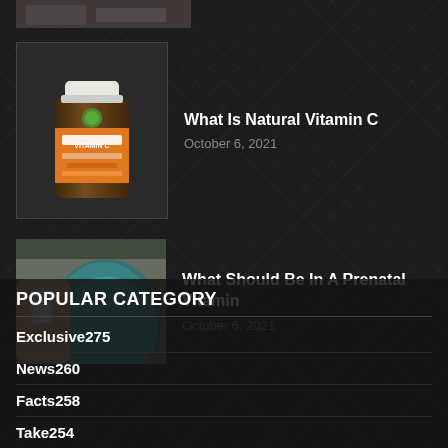[Figure (photo): Cropped top of a previous article thumbnail image, partially visible at top of page]
[Figure (photo): Vitamin C supplement bottle with orange label reading VITAMIN C]
What Is Natural Vitamin C
October 6, 2021
[Figure (photo): Pregnant woman holding a glass of water and a supplement pill]
What Should Be In A Prenatal Vitamin
October 6, 2021
POPULAR CATEGORY
Exclusive 275
News 260
Facts 258
Take 254